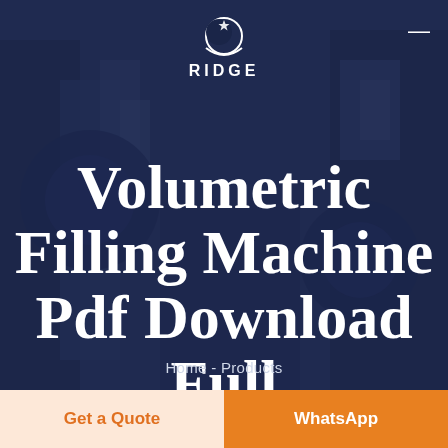[Figure (photo): Industrial filling machine equipment in the background, overlaid with a dark navy blue semi-transparent gradient. Logo of RIDGE (text with crescent moon/star graphic) shown at top center. Hamburger menu icon at top right.]
Volumetric Filling Machine Pdf Download Full
Home - Products
Get a Quote
WhatsApp